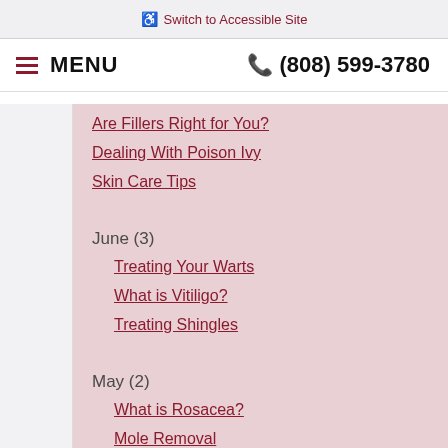♿ Switch to Accessible Site
≡ MENU   📞 (808) 599-3780
Are Fillers Right for You?
Dealing With Poison Ivy
Skin Care Tips
June (3)
Treating Your Warts
What is Vitiligo?
Treating Shingles
May (2)
What is Rosacea?
Mole Removal
April (2)